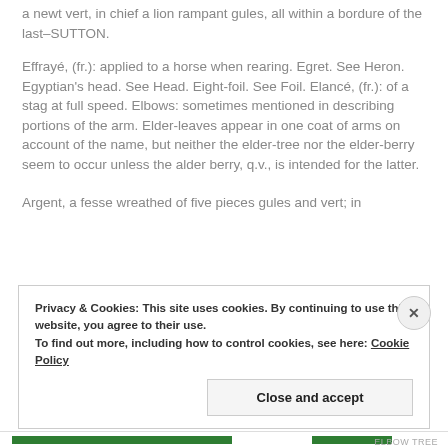a newt vert, in chief a lion rampant gules, all within a bordure of the last–SUTTON.
Effrayé, (fr.): applied to a horse when rearing. Egret. See Heron. Egyptian's head. See Head. Eight-foil. See Foil. Elancé, (fr.): of a stag at full speed. Elbows: sometimes mentioned in describing portions of the arm. Elder-leaves appear in one coat of arms on account of the name, but neither the elder-tree nor the elder-berry seem to occur unless the alder berry, q.v., is intended for the latter.
Argent, a fesse wreathed of five pieces gules and vert; in
Privacy & Cookies: This site uses cookies. By continuing to use this website, you agree to their use.
To find out more, including how to control cookies, see here: Cookie Policy
Close and accept